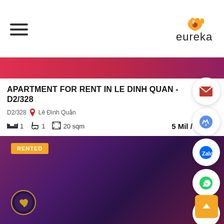eureka
APARTMENT FOR RENT IN LE DINH QUAN - D2/328
D2/328  Lê Đình Quản
1 bedroom  1 bathroom  20 sqm  5 Mil / Month
[Figure (photo): Apartment listing property image with purple/maroon gradient background, showing RENTED badge and heart favorite button]
[Figure (infographic): Floating action buttons on right side: email (red envelope), messenger (blue), Zalo, WhatsApp (green), phone; orange back-to-top button]